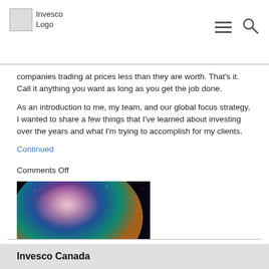Invesco Logo
companies trading at prices less than they are worth. That's it. Call it anything you want as long as you get the job done.
As an introduction to me, my team, and our global focus strategy, I wanted to share a few things that I've learned about investing over the years and what I'm trying to accomplish for my clients.
Continued
Comments Off
[Figure (photo): A person silhouetted against a colorful night sky showing the Milky Way galaxy with pink, blue, teal and orange hues.]
Invesco Canada